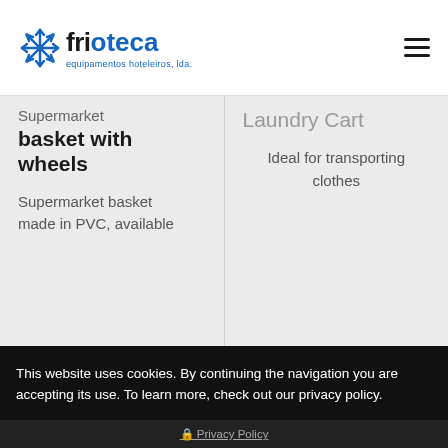frioteca equipamentos hoteleiros, lda.
basket with wheels
Supermarket basket made in PVC, available
Laundry Cart
Ideal for transporting clothes
This website uses cookies. By continuing the navigation you are accepting its use. To learn more, check out our privacy policy.
✓ Aceitar
Settings ⚙
Privacy Policy